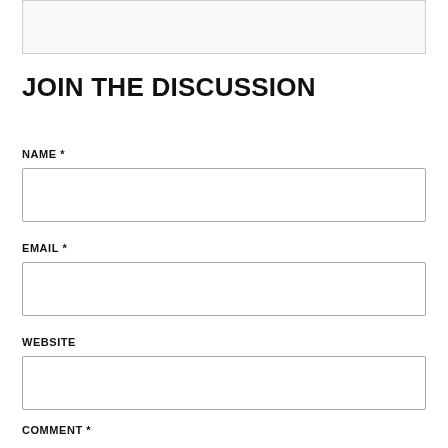[Figure (other): Top partial content box with light gray background and border]
JOIN THE DISCUSSION
NAME *
[Figure (other): Name input field box]
EMAIL *
[Figure (other): Email input field box]
WEBSITE
[Figure (other): Website input field box]
COMMENT *